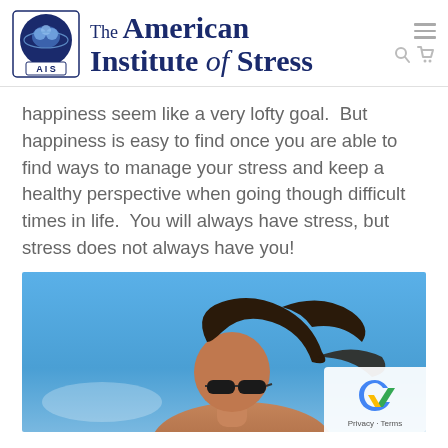The American Institute of Stress
happiness seem like a very lofty goal.  But happiness is easy to find once you are able to find ways to manage your stress and keep a healthy perspective when going though difficult times in life.  You will always have stress, but stress does not always have you!
[Figure (photo): A person with dark hair blowing in the wind wearing sunglasses, photographed from below against a blue sky.]